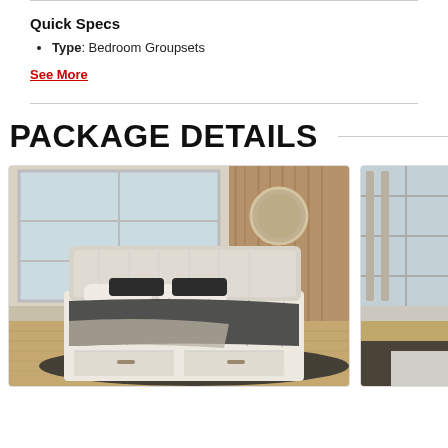Quick Specs
Type: Bedroom Groupsets
See More
PACKAGE DETAILS
[Figure (photo): Bedroom furniture set showing a white/cream storage bed with upholstered headboard, dark bedding, in a styled bedroom setting with hardwood floors and a dark rug.]
[Figure (photo): Partially visible second bedroom furniture item, appears to be a dresser or mirror, cropped at right edge of page.]